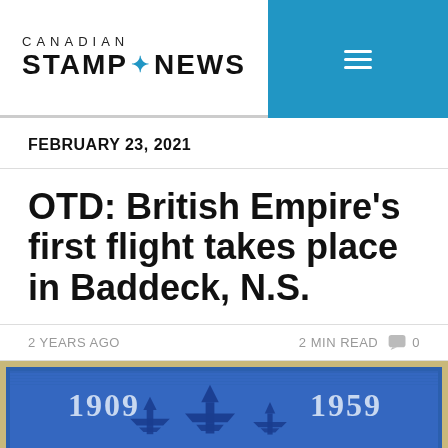CANADIAN STAMP NEWS
FEBRUARY 23, 2021
OTD: British Empire's first flight takes place in Baddeck, N.S.
2 YEARS AGO   2 MIN READ   0
[Figure (photo): Partial view of a Canadian commemorative stamp showing years 1909 and 1959 with blue aircraft silhouettes]